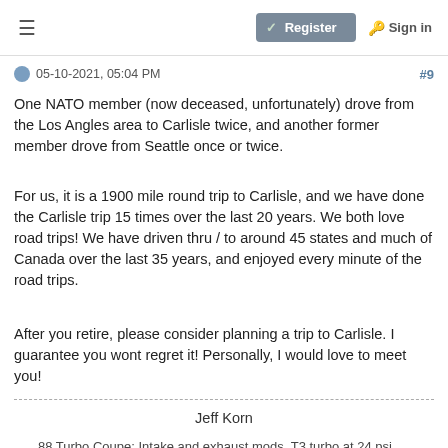≡   Register   Sign in
05-10-2021, 05:04 PM   #9
One NATO member (now deceased, unfortunately) drove from the Los Angles area to Carlisle twice, and another former member drove from Seattle once or twice.
For us, it is a 1900 mile round trip to Carlisle, and we have done the Carlisle trip 15 times over the last 20 years. We both love road trips! We have driven thru / to around 45 states and much of Canada over the last 35 years, and enjoyed every minute of the road trips.
After you retire, please consider planning a trip to Carlisle. I guarantee you wont regret it! Personally, I would love to meet you!
Jeff Korn
88 Turbo Coupe: Intake and exhaust mods, T3 turbo at 24 psi, forced air IC, water injection, BPV, Ranger cam,